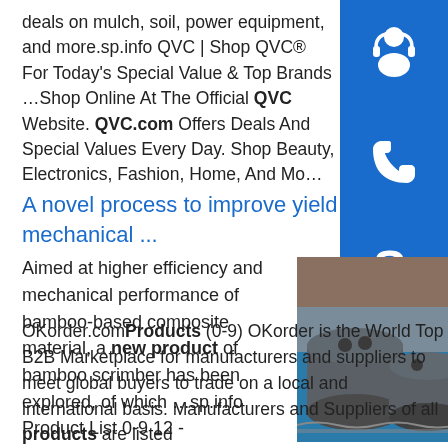deals on mulch, soil, power equipment, and more.sp.info QVC | Shop QVC® For Today's Special Value & Top Brands …Shop Online At The Official QVC Website. QVC.com Offers Deals And Special Values Every Day. Shop Beauty, Electronics, Fashion, Home, And Mo…
[Figure (illustration): Blue square icon with white headset/customer service symbol]
[Figure (illustration): Blue square icon with white phone symbol]
[Figure (illustration): Blue square icon with white Skype logo symbol]
A novel process to improve yield and mechanical ...
Aimed at higher efficiency and mechanical performance of bamboo-based composite material, a new product of bamboo scrimber has been explored, of which …sp.info Product List 0-9 12 -
[Figure (photo): Industrial storage tanks in an outdoor excavation or containment area, with blue liner visible]
OKorder.comProducts (0-9) OKorder is the World Top B2B Marketplace for manufacturers and suppliers to meet global buyers to trade on a local and international basis. Manufacturers and Suppliers of all products are listed